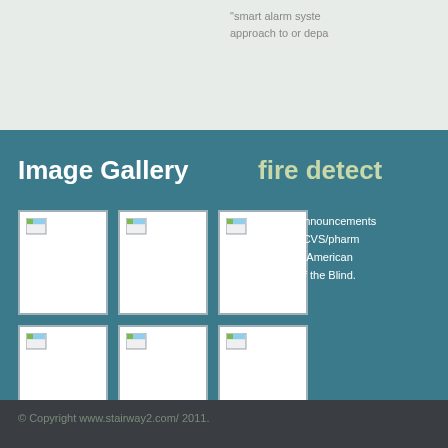"smart alarm system" approach to or depa
Image Gallery
fire detect
[Figure (illustration): A 2x3 grid of image thumbnail placeholders, each showing a small landscape image icon in the top-left corner and a white body on a teal background]
Today's announcement between CVS/pharmacy the Blind, American Council of the Blind.
© Copyright www.stairway2.com/ 2011.